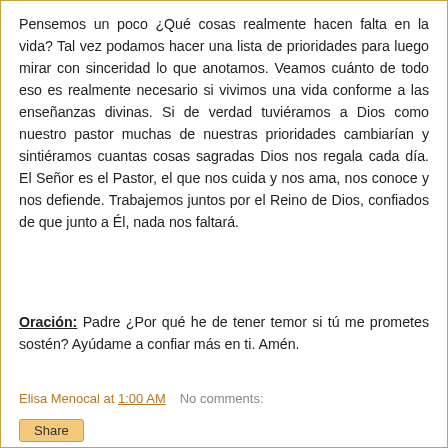Pensemos un poco ¿Qué cosas realmente hacen falta en la vida? Tal vez podamos hacer una lista de prioridades para luego mirar con sinceridad lo que anotamos. Veamos cuánto de todo eso es realmente necesario si vivimos una vida conforme a las enseñanzas divinas. Si de verdad tuviéramos a Dios como nuestro pastor muchas de nuestras prioridades cambiarían y sintiéramos cuantas cosas sagradas Dios nos regala cada día. El Señor es el Pastor, el que nos cuida y nos ama, nos conoce y nos defiende. Trabajemos juntos por el Reino de Dios, confiados de que junto a Él, nada nos faltará.
Oración: Padre ¿Por qué he de tener temor si tú me prometes sostén? Ayúdame a confiar más en ti. Amén.
Elisa Menocal at 1:00 AM    No comments: